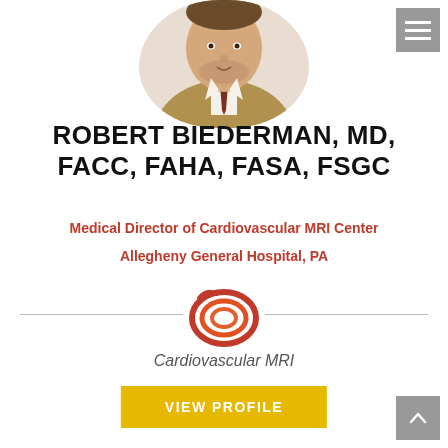[Figure (photo): Circular/oval cropped professional headshot of Robert Biederman, a man in a suit jacket with a tie]
ROBERT BIEDERMAN, MD, FACC, FAHA, FASA, FSGC
Medical Director of Cardiovascular MRI Center
Allegheny General Hospital, PA
[Figure (logo): Cardiovascular MRI swirl logo in red/orange concentric ovals with white center, flanked by horizontal divider lines]
Cardiovascular MRI
VIEW PROFILE